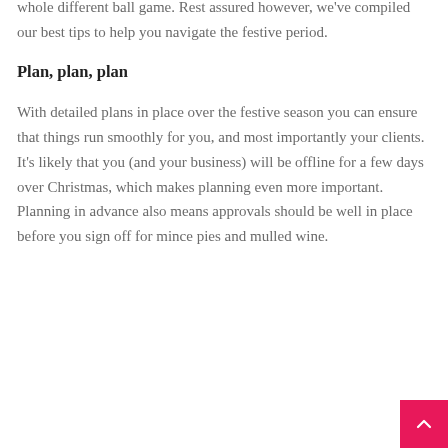Christmas can at times be crazy, but social media at Christmas is a whole different ball game. Rest assured however, we've compiled our best tips to help you navigate the festive period.
Plan, plan, plan
With detailed plans in place over the festive season you can ensure that things run smoothly for you, and most importantly your clients. It's likely that you (and your business) will be offline for a few days over Christmas, which makes planning even more important. Planning in advance also means approvals should be well in place before you sign off for mince pies and mulled wine.